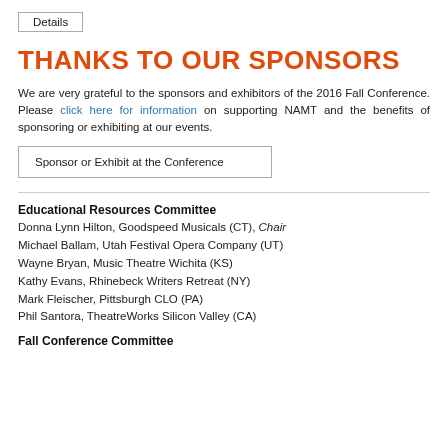Details
THANKS TO OUR SPONSORS
We are very grateful to the sponsors and exhibitors of the 2016 Fall Conference. Please click here for information on supporting NAMT and the benefits of sponsoring or exhibiting at our events.
Sponsor or Exhibit at the Conference
Educational Resources Committee
Donna Lynn Hilton, Goodspeed Musicals (CT), Chair
Michael Ballam, Utah Festival Opera Company (UT)
Wayne Bryan, Music Theatre Wichita (KS)
Kathy Evans, Rhinebeck Writers Retreat (NY)
Mark Fleischer, Pittsburgh CLO (PA)
Phil Santora, TheatreWorks Silicon Valley (CA)
Fall Conference Committee